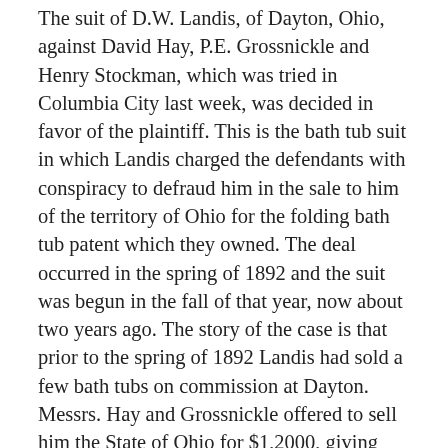The suit of D.W. Landis, of Dayton, Ohio, against David Hay, P.E. Grossnickle and Henry Stockman, which was tried in Columbia City last week, was decided in favor of the plaintiff. This is the bath tub suit in which Landis charged the defendants with conspiracy to defraud him in the sale to him of the territory of Ohio for the folding bath tub patent which they owned. The deal occurred in the spring of 1892 and the suit was begun in the fall of that year, now about two years ago. The story of the case is that prior to the spring of 1892 Landis had sold a few bath tubs on commission at Dayton. Messrs. Hay and Grossnickle offered to sell him the State of Ohio for $1,2000, giving him an option on it for thirty days at that price. Just after that Henry Stockman appeared in Dayton and wanted to buy a dozen or two counties in Ohio, offering $100 per county. He was persistent in his offer and kept both mails and telegraphs against Landis, to say the